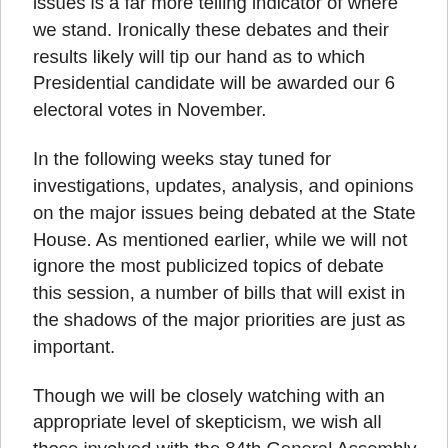issues is a far more telling indicator of where we stand. Ironically these debates and their results likely will tip our hand as to which Presidential candidate will be awarded our 6 electoral votes in November.
In the following weeks stay tuned for investigations, updates, analysis, and opinions on the major issues being debated at the State House. As mentioned earlier, while we will not ignore the most publicized topics of debate this session, a number of bills that will exist in the shadows of the major priorities are just as important.
Though we will be closely watching with an appropriate level of skepticism, we wish all those involved with the 84th General Assembly well in their efforts to make improvements for all Iowans. When we feel they have achieved improvement—we will trumpet it. When we feel they have caused damage to our way of life—they will be called to account.